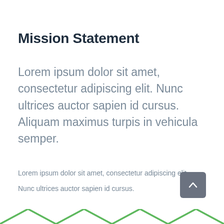Mission Statement
Lorem ipsum dolor sit amet, consectetur adipiscing elit. Nunc ultrices auctor sapien id cursus. Aliquam maximus turpis in vehicula semper.
Lorem ipsum dolor sit amet, consectetur adipiscing elit.
Nunc ultrices auctor sapien id cursus.
[Figure (other): Scroll-to-top button (gray rounded square with upward chevron arrow)]
[Figure (illustration): Decorative green chevron/zigzag pattern along the bottom edge of the page]